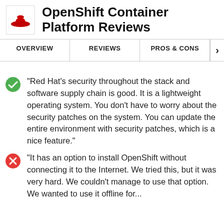OpenShift Container Platform Reviews
OVERVIEW | REVIEWS | PROS & CONS
"Red Hat's security throughout the stack and software supply chain is good. It is a lightweight operating system. You don't have to worry about the security patches on the system. You can update the entire environment with security patches, which is a nice feature."
"It has an option to install OpenShift without connecting it to the Internet. We tried this, but it was very hard. We couldn't manage to use that option. We wanted to use it offline for..."